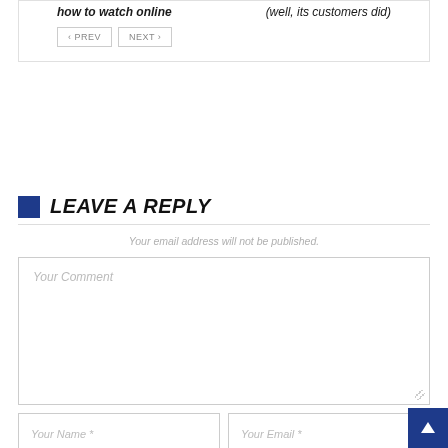how to watch online
(well, its customers did)
PREV
NEXT
LEAVE A REPLY
Your email address will not be published.
Your Comment
Your Name *
Your Email *